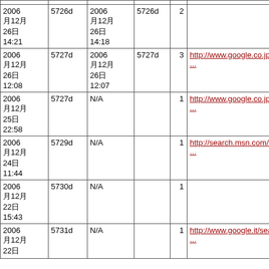| Date | ID | Date2 | ID2 | Count | URL |
| --- | --- | --- | --- | --- | --- |
| 200612
26
14:21 | 5726d | 200612
26
14:18 | 5726d | 2 |  |
| 200612
26
12:08 | 5727d | 200612
26
12:07 | 5727d | 3 | http://www.google.co.jp/s... |
| 200612
25
22:58 | 5727d | N/A |  | 1 | http://www.google.co.jp/s... |
| 200612
24
11:44 | 5729d | N/A |  | 1 | http://search.msn.com/sp... |
| 200612
22
15:43 | 5730d | N/A |  | 1 |  |
| 200612
22 | 5731d | N/A |  | 1 | http://www.google.it/sear... |